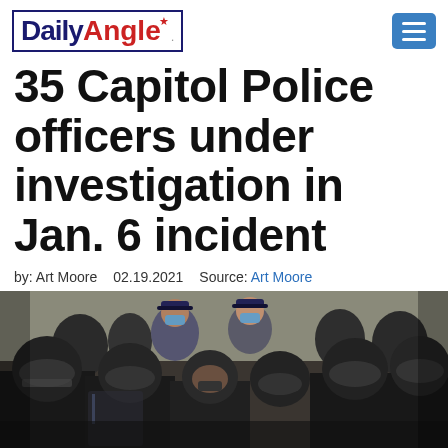Daily Angle
35 Capitol Police officers under investigation in Jan. 6 incident
by: Art Moore  02.19.2021  Source: Art Moore
[Figure (photo): A crowd scene showing Capitol Police officers in riot gear and black-clad individuals in a confrontation, all wearing face masks, photographed during the January 6, 2021 incident at the U.S. Capitol.]